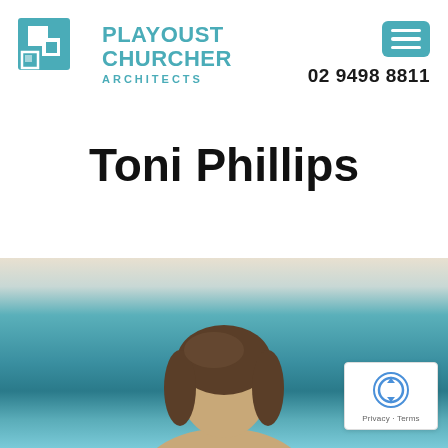[Figure (logo): Playoust Churcher Architects logo with teal geometric squares icon and teal text]
02 9498 8811
Toni Phillips
[Figure (photo): Photo of Toni Phillips, showing top of head with brown hair, against a teal/blue abstract painted background]
Privacy · Terms